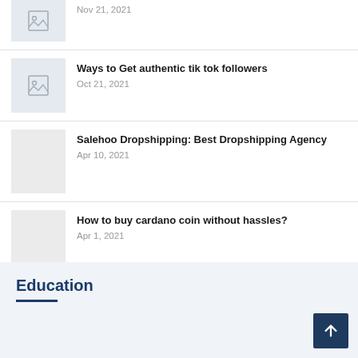[Figure (illustration): Placeholder image thumbnail with photo icon, partially visible at top]
Nov 21, 2021
[Figure (illustration): Placeholder image thumbnail with photo icon]
Ways to Get authentic tik tok followers
Oct 21, 2021
[Figure (illustration): Plain gray placeholder image thumbnail]
Salehoo Dropshipping: Best Dropshipping Agency
Apr 10, 2021
[Figure (illustration): Plain gray placeholder image thumbnail]
How to buy cardano coin without hassles?
Apr 1, 2021
Education